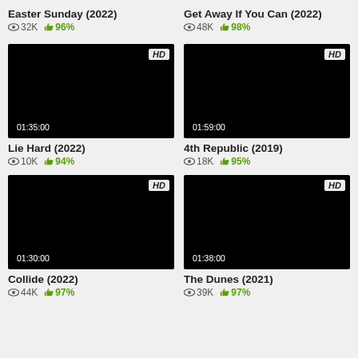Easter Sunday (2022)
32K views, 96% rating
[Figure (screenshot): Black video thumbnail with HD badge and duration 01:35:00]
Lie Hard (2022)
10K views, 94% rating
Get Away If You Can (2022)
48K views, 98% rating
[Figure (screenshot): Black video thumbnail with HD badge and duration 01:59:00]
4th Republic (2019)
18K views, 95% rating
[Figure (screenshot): Black video thumbnail with HD badge and duration 01:30:00]
Collide (2022)
44K views, 97% rating
[Figure (screenshot): Black video thumbnail with HD badge and duration 01:38:00]
The Dunes (2021)
39K views, 97% rating